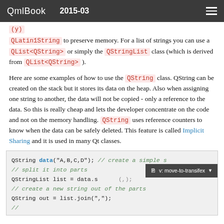QmlBook  2015-03
QLatin1String to preserve memory. For a list of strings you can use a QList<QString> or simply the QStringList class (which is derived from QList<QString>).
Here are some examples of how to use the QString class. QString can be created on the stack but it stores its data on the heap. Also when assigning one string to another, the data will not be copied - only a reference to the data. So this is really cheap and lets the developer concentrate on the code and not on the memory handling. QString uses reference counters to know when the data can be safely deleted. This feature is called Implicit Sharing and it is used in many Qt classes.
[Figure (screenshot): Code block showing: QString data("A,B,C,D"); // create a simple s ... // split it into parts ... QStringList list = data.s...(,); // create a new string out of the parts ... QString out = list.join(","); ... with a transifex tooltip overlay]